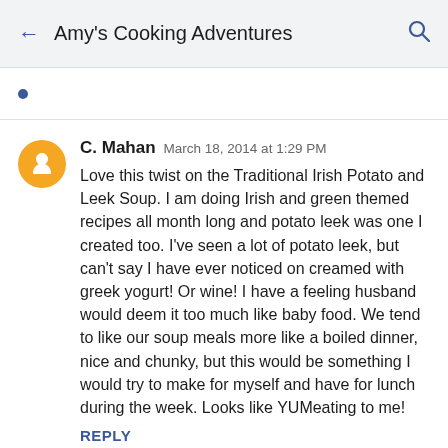← Amy's Cooking Adventures 🔍
C. Mahan  March 18, 2014 at 1:29 PM

Love this twist on the Traditional Irish Potato and Leek Soup. I am doing Irish and green themed recipes all month long and potato leek was one I created too. I've seen a lot of potato leek, but can't say I have ever noticed on creamed with greek yogurt! Or wine! I have a feeling husband would deem it too much like baby food. We tend to like our soup meals more like a boiled dinner, nice and chunky, but this would be something I would try to make for myself and have for lunch during the week. Looks like YUMeating to me!
REPLY